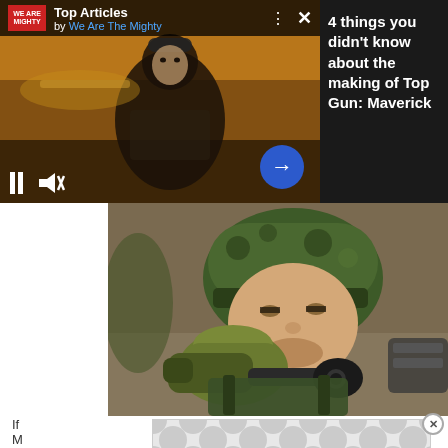[Figure (screenshot): Video player thumbnail showing a pilot in flight gear with article title overlay. Top Articles by We Are The Mighty. Title: 4 things you didn't know about the making of Top Gun: Maverick]
[Figure (photo): Close-up photo of a soldier in green camouflage helmet and gear, drinking from a green canteen or water container, wearing a gas mask around neck]
If M
[Figure (other): Advertisement banner with circular dot pattern in grey tones]